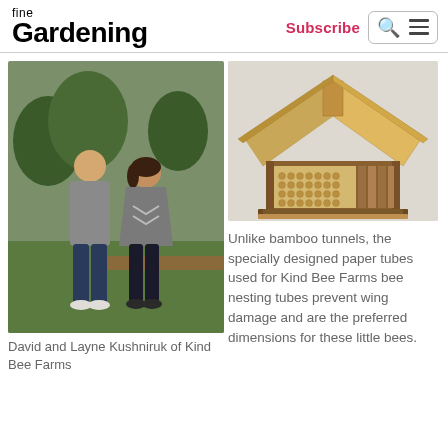fine Gardening — Subscribe
[Figure (photo): David and Layne Kushniruk standing outdoors in a garden with green grass and raised beds behind them]
David and Layne Kushniruk of Kind Bee Farms
[Figure (photo): A wooden bee house with a peaked roof, vertical slat walls, and paper nesting tubes visible inside, set on a white background]
Unlike bamboo tunnels, the specially designed paper tubes used for Kind Bee Farms bee nesting tubes prevent wing damage and are the preferred dimensions for these little bees.